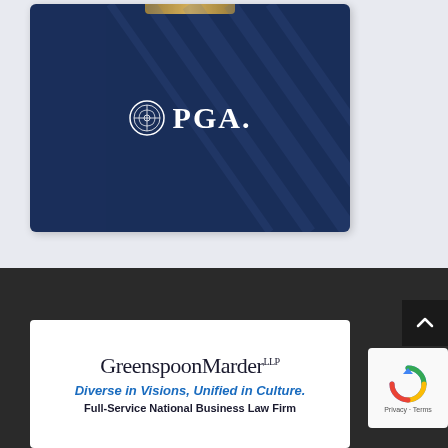[Figure (logo): PGA logo on dark navy blue card with gold bar accent and diagonal line pattern]
[Figure (logo): Greenspoon Marder LLP law firm card with tagline 'Diverse in Visions, Unified in Culture.' and subtitle 'Full-Service National Business Law Firm']
Diverse in Visions, Unified in Culture.
Full-Service National Business Law Firm
[Figure (other): reCAPTCHA widget with Privacy and Terms links]